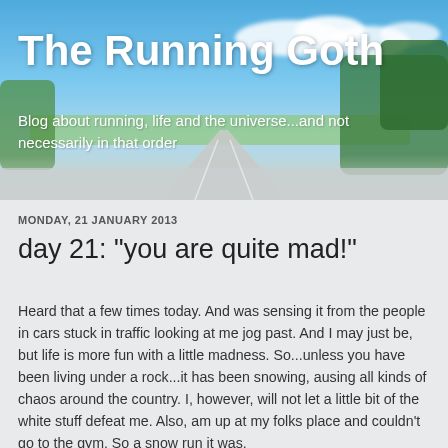[Figure (photo): Blog header photo showing a road stretching into the distance with blue sky, clouds, green fields and trees on the sides, slightly blurred/bokeh effect]
The Running Goth
Blog about running, life and the universe...and not necessarily in that order
MONDAY, 21 JANUARY 2013
day 21: "you are quite mad!"
Heard that a few times today. And was sensing it from the people in cars stuck in traffic looking at me jog past. And I may just be, but life is more fun with a little madness. So...unless you have been living under a rock...it has been snowing, ausing all kinds of chaos around the country. I, however, will not let a little bit of the white stuff defeat me. Also, am up at my folks place and couldn't go to the gym. So a snow run it was.
And, it was actually good when I got out. I was just going to